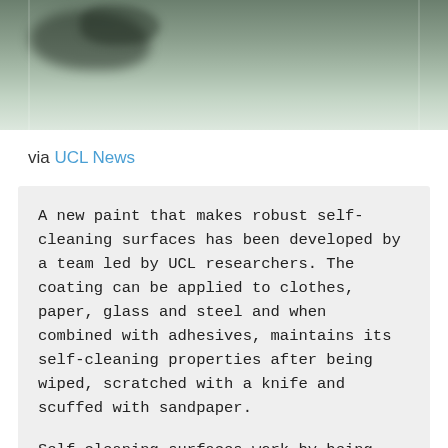[Figure (photo): Partial photograph of a natural scene with dark foliage/tree silhouette against a muted green-grey background, cropped at the top of the page.]
via UCL News
A new paint that makes robust self-cleaning surfaces has been developed by a team led by UCL researchers. The coating can be applied to clothes, paper, glass and steel and when combined with adhesives, maintains its self-cleaning properties after being wiped, scratched with a knife and scuffed with sandpaper.

Self-cleaning surfaces work by being extremely repellent to water but often stop working when they are damaged or exposed to oil. The new paint creates a more resilient surface that is resistant to everyday wear and tear, so could be used for a wide range